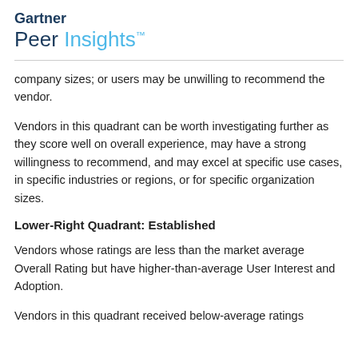Gartner Peer Insights™
company sizes; or users may be unwilling to recommend the vendor.
Vendors in this quadrant can be worth investigating further as they score well on overall experience, may have a strong willingness to recommend, and may excel at specific use cases, in specific industries or regions, or for specific organization sizes.
Lower-Right Quadrant: Established
Vendors whose ratings are less than the market average Overall Rating but have higher-than-average User Interest and Adoption.
Vendors in this quadrant received below-average ratings